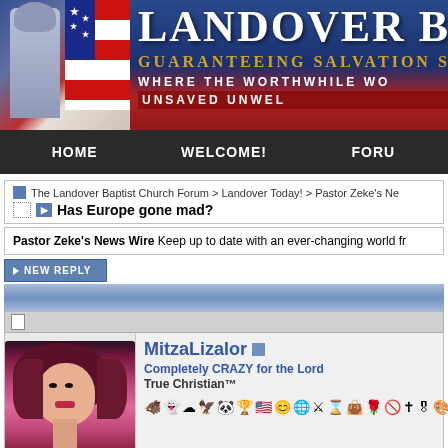[Figure (screenshot): Landover Baptist Church website banner with Jesus figure draped in American flag, site title 'Landover Baptist' and taglines 'Guaranteeing Salvation S...', 'Where the Worthwhile Wo...', 'Unsaved Unwel...']
HOME | WELCOME! | FORU...
The Landover Baptist Church Forum > Landover Today! > Pastor Zeke's Ne...
Has Europe gone mad?
Pastor Zeke's News Wire Keep up to date with an ever-changing world fr...
▶ NEW REPLY
MitzaLizalor
Completely CRAZY for the Lord
True Christian™